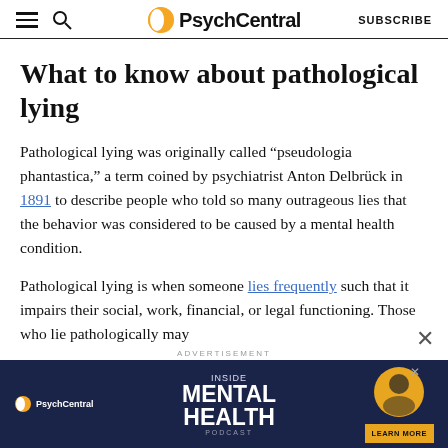PsychCentral  SUBSCRIBE
What to know about pathological lying
Pathological lying was originally called “pseudologia phantastica,” a term coined by psychiatrist Anton Delbrück in 1891 to describe people who told so many outrageous lies that the behavior was considered to be caused by a mental health condition.
Pathological lying is when someone lies frequently such that it impairs their social, work, financial, or legal functioning. Those who lie pathologically may
[Figure (screenshot): PsychCentral advertisement banner for Inside Mental Health Podcast with dark blue background, podcast logo, and Learn More button]